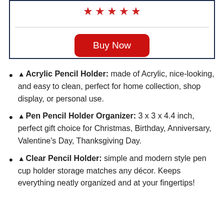[Figure (other): Star rating row (5 red stars) and a red Buy Now button inside a navy-bordered box]
▲Acrylic Pencil Holder: made of Acrylic, nice-looking, and easy to clean, perfect for home collection, shop display, or personal use.
▲Pen Pencil Holder Organizer: 3 x 3 x 4.4 inch, perfect gift choice for Christmas, Birthday, Anniversary, Valentine's Day, Thanksgiving Day.
▲Clear Pencil Holder: simple and modern style pen cup holder storage matches any décor. Keeps everything neatly organized and at your fingertips!